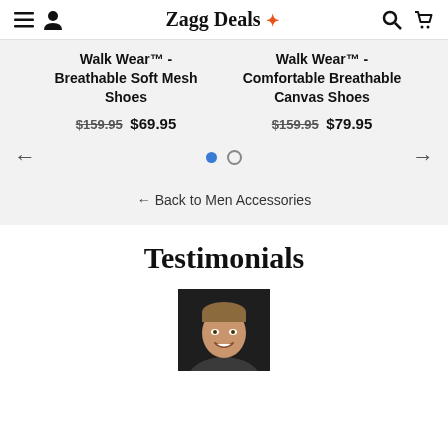Zagg Deals +
Walk Wear™ - Breathable Soft Mesh Shoes
$159.95 $69.95
Walk Wear™ - Comfortable Breathable Canvas Shoes
$159.95 $79.95
← Back to Men Accessories
Testimonials
[Figure (photo): Portrait photo of a smiling middle-aged man]